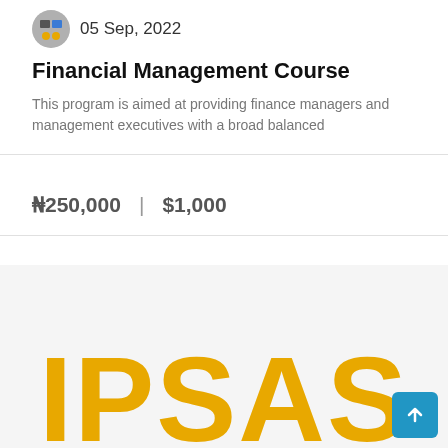05 Sep, 2022
Financial Management Course
This program is aimed at providing finance managers and management executives with a broad balanced
₦250,000  |  $1,000
[Figure (logo): Large yellow bold text reading IPSAS on a light grey background]